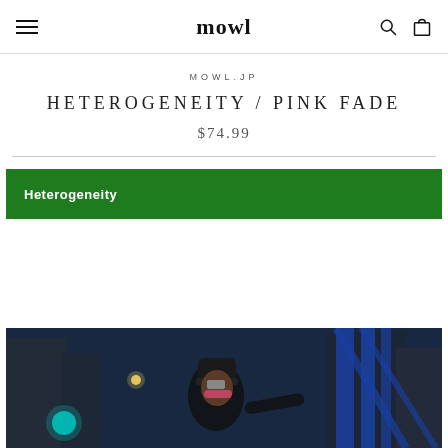mowl — navigation header with hamburger menu, logo, search and bag icons
MOWL.JP
HETEROGENEITY / PINK FADE
$74.99
Heterogeneity
[Figure (photo): Person wearing a black beanie hat at night in an urban setting with blue structural elements in the background]